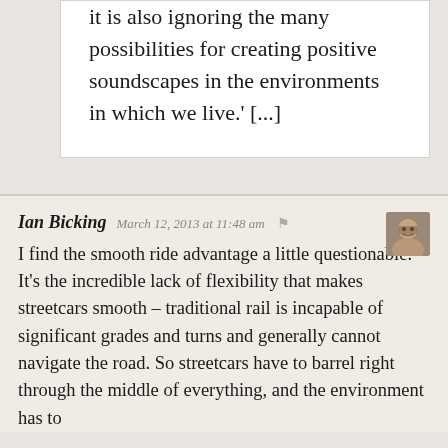it is also ignoring the many possibilities for creating positive soundscapes in the environments in which we live.' [...]
Ian Bicking  March 12, 2013 at 11:48 am
I find the smooth ride advantage a little questionable. It's the incredible lack of flexibility that makes streetcars smooth – traditional rail is incapable of significant grades and turns and generally cannot navigate the road. So streetcars have to barrel right through the middle of everything, and the environment has to